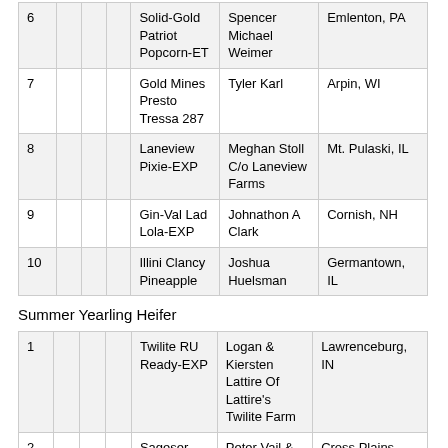|  |  |  |  | Animal | Owner | Location |
| --- | --- | --- | --- | --- | --- | --- |
| 6 |  |  |  | Solid-Gold Patriot Popcorn-ET | Spencer Michael Weimer | Emlenton, PA |
| 7 |  |  |  | Gold Mines Presto Tressa 287 | Tyler Karl | Arpin, WI |
| 8 |  |  |  | Laneview Pixie-EXP | Meghan Stoll C/o Laneview Farms | Mt. Pulaski, IL |
| 9 |  |  |  | Gin-Val Lad Lola-EXP | Johnathon A Clark | Cornish, NH |
| 10 |  |  |  | Illini Clancy Pineapple | Joshua Huelsman | Germantown, IL |
Summer Yearling Heifer
|  |  |  |  | Animal | Owner | Location |
| --- | --- | --- | --- | --- | --- | --- |
| 1 |  |  |  | Twilite RU Ready-EXP | Logan & Kiersten Lattire Of Lattire's Twilite Farm | Lawrenceburg, IN |
| 2 |  |  |  | Sageser | Peter Vail & | Cross Plains |